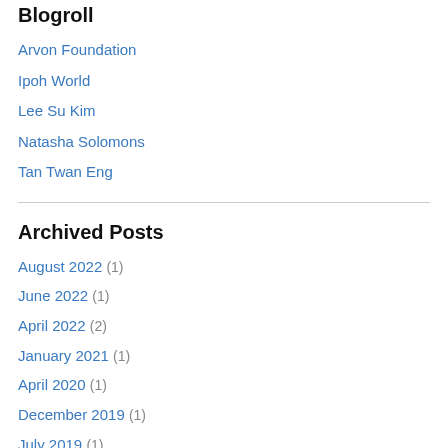Blogroll
Arvon Foundation
Ipoh World
Lee Su Kim
Natasha Solomons
Tan Twan Eng
Archived Posts
August 2022 (1)
June 2022 (1)
April 2022 (2)
January 2021 (1)
April 2020 (1)
December 2019 (1)
July 2019 (1)
April 2019 (1)
March 2019 (1)
October 2018 (1)